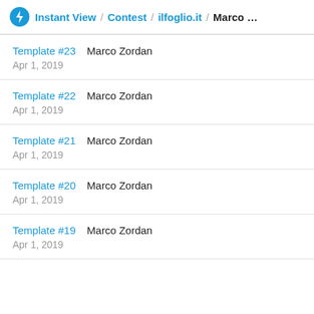Instant View / Contest / ilfoglio.it / Marco …
Template #23   Marco Zordan
Apr 1, 2019
Template #22   Marco Zordan
Apr 1, 2019
Template #21   Marco Zordan
Apr 1, 2019
Template #20   Marco Zordan
Apr 1, 2019
Template #19   Marco Zordan
Apr 1, 2019